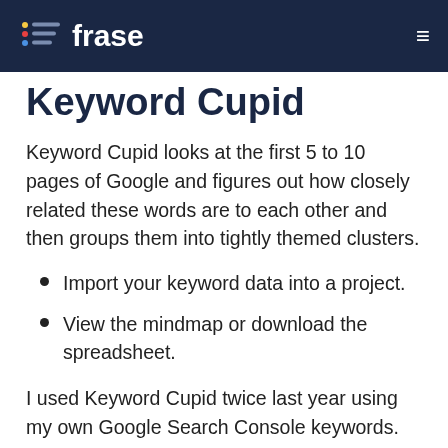frase
Keyword Cupid
Keyword Cupid looks at the first 5 to 10 pages of Google and figures out how closely related these words are to each other and then groups them into tightly themed clusters.
Import your keyword data into a project.
View the mindmap or download the spreadsheet.
I used Keyword Cupid twice last year using my own Google Search Console keywords.
As you can see, this report shows the page theme (cluster page), all the keywords in that